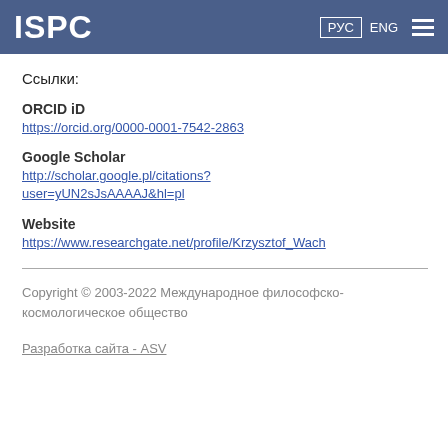ISPC | РУС ENG
Ссылки:
ORCID iD
https://orcid.org/0000-0001-7542-2863
Google Scholar
http://scholar.google.pl/citations?user=yUN2sJsAAAAJ&hl=pl
Website
https://www.researchgate.net/profile/Krzysztof_Wach
Copyright © 2003-2022 Международное философско-космологическое общество
Разработка сайта - ASV